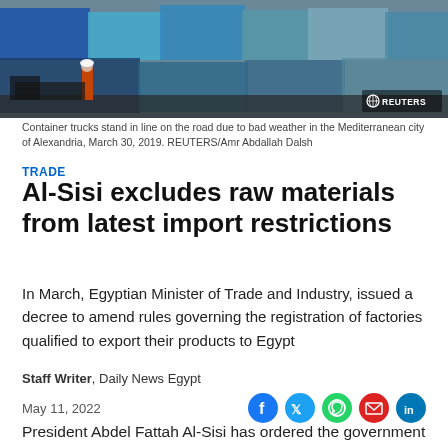[Figure (photo): Container trucks standing in line on a road, with shipping containers stacked in the background. A person in an orange vest is visible. Reuters logo in bottom-right corner.]
Container trucks stand in line on the road due to bad weather in the Mediterranean city of Alexandria, March 30, 2019. REUTERS/Amr Abdallah Dalsh
TRADE
Al-Sisi excludes raw materials from latest import restrictions
In March, Egyptian Minister of Trade and Industry, issued a decree to amend rules governing the registration of factories qualified to export their products to Egypt
Staff Writer, Daily News Egypt
May 11, 2022
President Abdel Fattah Al-Sisi has ordered the government to exclude production requirements and raw materials from the